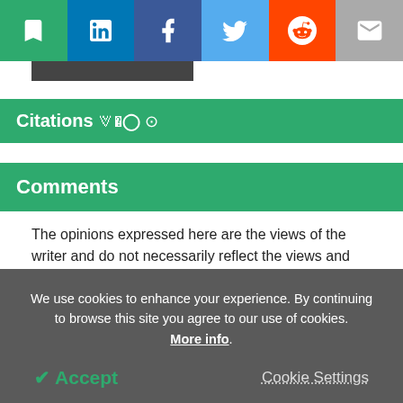[Figure (other): Social sharing toolbar with bookmark (green), LinkedIn (blue), Facebook (dark blue), Twitter (light blue), Reddit (orange), and email (grey) buttons]
Citations ⊙
Comments
The opinions expressed here are the views of the writer and do not necessarily reflect the views and opinions of AZoLifeSciences.
Post a new comment
We use cookies to enhance your experience. By continuing to browse this site you agree to our use of cookies. More info.
✔ Accept
Cookie Settings